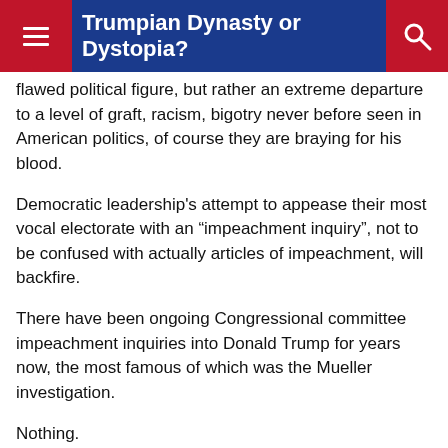Trumpian Dynasty or Dystopia?
flawed political figure, but rather an extreme departure to a level of graft, racism, bigotry never before seen in American politics, of course they are braying for his blood.
Democratic leadership’s attempt to appease their most vocal electorate with an “impeachment inquiry”, not to be confused with actually articles of impeachment, will backfire.
There have been ongoing Congressional committee impeachment inquiries into Donald Trump for years now, the most famous of which was the Mueller investigation.
Nothing.
If everything liberal Democrats say about Donald Trump is true- that he is a racist murderer, an agent of a foreign government, and a thief of elections- why isn’t he in jail?
Why weren’t articles of impeachment brought against him years ago?